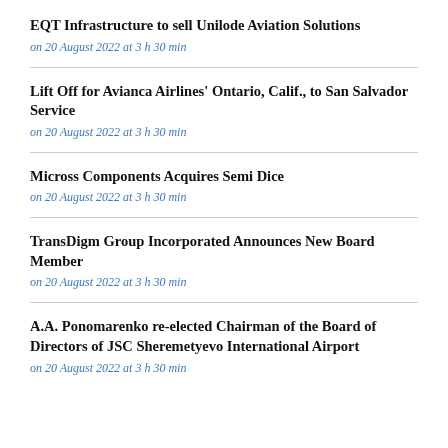EQT Infrastructure to sell Unilode Aviation Solutions
on 20 August 2022 at 3 h 30 min
Lift Off for Avianca Airlines' Ontario, Calif., to San Salvador Service
on 20 August 2022 at 3 h 30 min
Micross Components Acquires Semi Dice
on 20 August 2022 at 3 h 30 min
TransDigm Group Incorporated Announces New Board Member
on 20 August 2022 at 3 h 30 min
A.A. Ponomarenko re-elected Chairman of the Board of Directors of JSC Sheremetyevo International Airport
on 20 August 2022 at 3 h 30 min